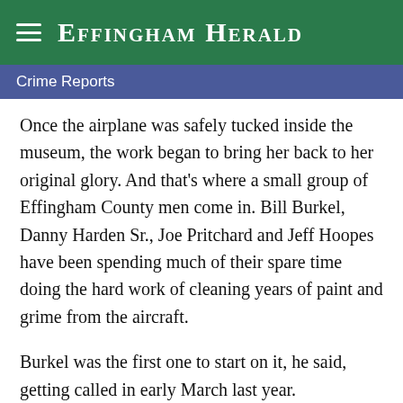Effingham Herald
Crime Reports
Once the airplane was safely tucked inside the museum, the work began to bring her back to her original glory. And that's where a small group of Effingham County men come in. Bill Burkel, Danny Harden Sr., Joe Pritchard and Jeff Hoopes have been spending much of their spare time doing the hard work of cleaning years of paint and grime from the aircraft.
Burkel was the first one to start on it, he said, getting called in early March last year.
“What we did for the first three or four months was strip off all the old sealant and stuff they put to protect